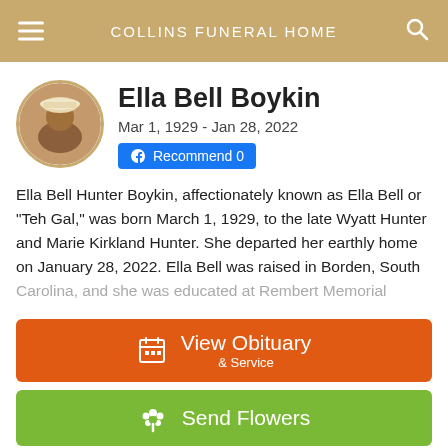COLLINS FUNERAL HOME
Ella Bell Boykin
Mar 1, 1929 - Jan 28, 2022
Recommend 0
Ella Bell Hunter Boykin, affectionately known as Ella Bell or “Teh Gal,” was born March 1, 1929, to the late Wyatt Hunter and Marie Kirkland Hunter. She departed her earthly home on January 28, 2022. Ella Bell was raised in Borden, South Carolina, and she was educated at Rembert Memorial
View Obituary & Service
Send Flowers
Share